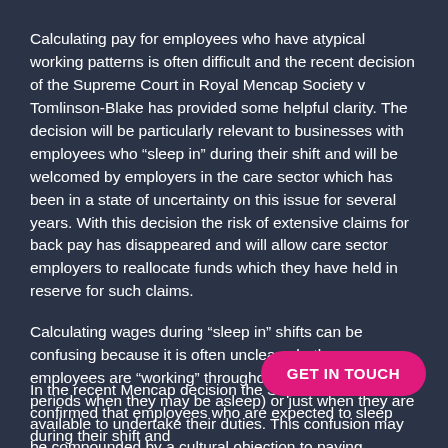Calculating pay for employees who have atypical working patterns is often difficult and the recent decision of the Supreme Court in Royal Mencap Society v Tomlinson-Blake has provided some helpful clarity. The decision will be particularly relevant to businesses with employees who "sleep in" during their shift and will be welcomed by employers in the care sector which has been in a state of uncertainty on this issue for several years. With this decision the risk of extensive claims for back pay has disappeared and will allow care sector employers to reallocate funds which they have held in reserve for such claims.
Calculating wages during "sleep in" shifts can be confusing because it is often unclear whether employees are "working" throughout their shift (including periods when they may be asleep) or just when they are available to undertake their duties. This confusion may be compounded by a cultural objection to paying employees to be "asleep on the job" which causes some employers to consider pay arrangement for “sleep in” shifts in a dogmatic fashion.
In the recent Mencap decision the Supreme Court confirmed that employees who are expected to sleep during their shift and